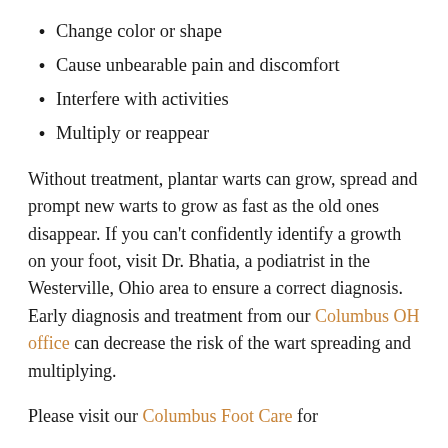Change color or shape
Cause unbearable pain and discomfort
Interfere with activities
Multiply or reappear
Without treatment, plantar warts can grow, spread and prompt new warts to grow as fast as the old ones disappear. If you can't confidently identify a growth on your foot, visit Dr. Bhatia, a podiatrist in the Westerville, Ohio area to ensure a correct diagnosis. Early diagnosis and treatment from our Columbus OH office can decrease the risk of the wart spreading and multiplying.
Please visit our Columbus Foot Care for